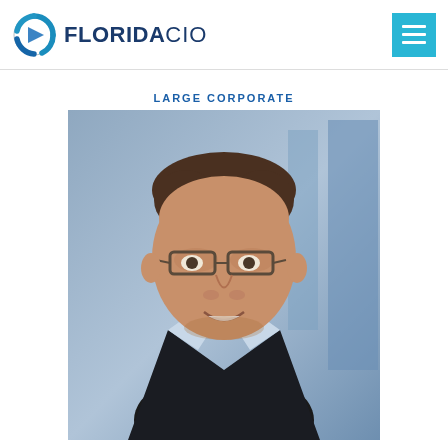FLORIDA CIO
LARGE CORPORATE
[Figure (photo): Headshot of a man wearing glasses and a dark suit with a light blue shirt, smiling slightly, with a blurred office background]